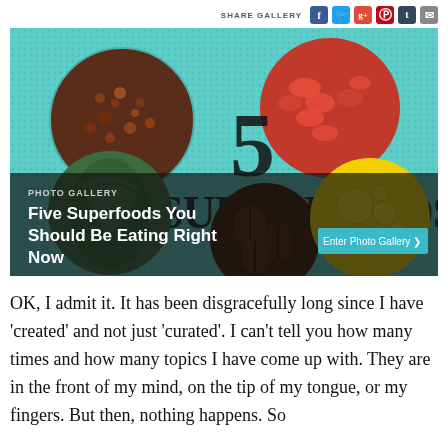SHARE GALLERY
[Figure (photo): Photo gallery banner showing '5 SUPERFOODS' with circular food images: quinoa, goji berries, kale, coffee beans, and yellow oil drops on teal dotted background. Overlay text reads 'PHOTO GALLERY / Five Superfoods You Should Be Eating Right Now' with 'Enter Photo Gallery >' button.]
OK, I admit it. It has been disgracefully long since I have 'created' and not just 'curated'. I can't tell you how many times and how many topics I have come up with. They are in the front of my mind, on the tip of my tongue, or my fingers. But then, nothing happens. So